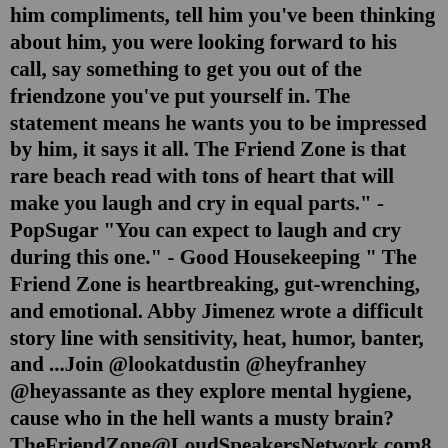him compliments, tell him you've been thinking about him, you were looking forward to his call, say something to get you out of the friendzone you've put yourself in. The statement means he wants you to be impressed by him, it says it all. The Friend Zone is that rare beach read with tons of heart that will make you laugh and cry in equal parts." - PopSugar "You can expect to laugh and cry during this one." - Good Housekeeping " The Friend Zone is heartbreaking, gut-wrenching, and emotional. Abby Jimenez wrote a difficult story line with sensitivity, heat, humor, banter, and ...Join @lookatdustin @heyfranhey @heyassante as they explore mental hygiene, cause who in the hell wants a musty brain? TheFriendZone@LoudSpeakersNetwork.com8. You find yourself consoling her after a breakup. No, you are not her knight in shining armour, she just wants to cry and talk it out - exactly like she would with a girlfriend. 9. She's ever said that you are 'like a brother to her'. Definitely friend-zoned. 10. She tells you how perfect you are...for someone else.1. Short